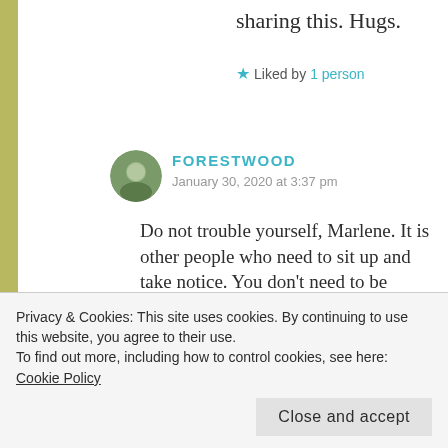sharing this. Hugs.
★ Liked by 1 person
FORESTWOOD
January 30, 2020 at 3:37 pm
Do not trouble yourself, Marlene. It is other people who need to sit up and take notice. You don't need to be convinced of the need to
Privacy & Cookies: This site uses cookies. By continuing to use this website, you agree to their use.
To find out more, including how to control cookies, see here: Cookie Policy
Close and accept